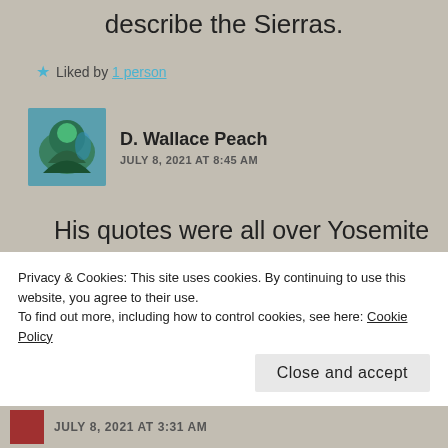describe the Sierras.
★ Liked by 1 person
D. Wallace Peach
JULY 8, 2021 AT 8:45 AM
His quotes were all over Yosemite and at the place we were staying. He understood
Privacy & Cookies: This site uses cookies. By continuing to use this website, you agree to their use.
To find out more, including how to control cookies, see here: Cookie Policy
Close and accept
JULY 8, 2021 AT 3:31 AM